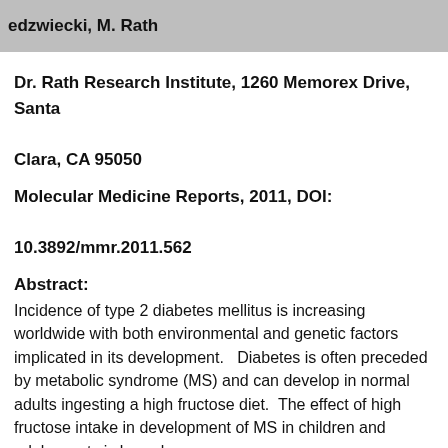...edzwiecki, M. Rath
Dr. Rath Research Institute, 1260 Memorex Drive, Santa Clara, CA 95050
Molecular Medicine Reports, 2011, DOI: 10.3892/mmr.2011.562
Abstract:
Incidence of type 2 diabetes mellitus is increasing worldwide with both environmental and genetic factors implicated in its development.  Diabetes is often preceded by metabolic syndrome (MS) and can develop in normal adults ingesting a high fructose diet.  The effect of high fructose intake in development of MS in children and adolescents is less clear.
→ Read more: ...